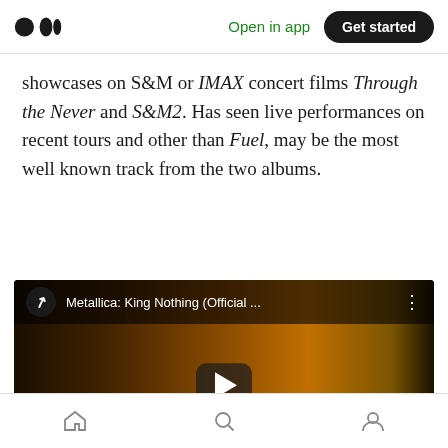Open in app | Get started
showcases on S&M or IMAX concert films Through the Never and S&M2. Has seen live performances on recent tours and other than Fuel, may be the most well known track from the two albums.
[Figure (screenshot): YouTube video embed showing Metallica: King Nothing (Official ... with a dark amber-toned video thumbnail featuring a silhouette, and a play button in the center.]